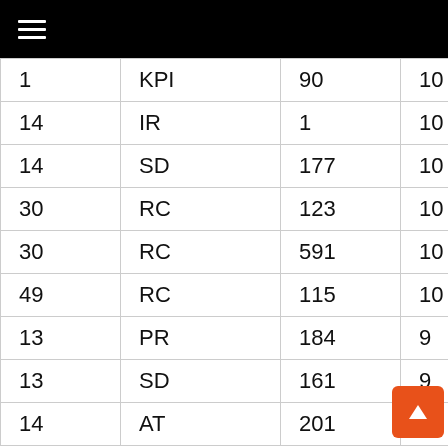☰
| 1 | KPI | 90 | 10 |  |
| 14 | IR | 1 | 10 |  |
| 14 | SD | 177 | 10 |  |
| 30 | RC | 123 | 10 |  |
| 30 | RC | 591 | 10 |  |
| 49 | RC | 115 | 10 |  |
| 13 | PR | 184 | 9 |  |
| 13 | SD | 161 | 9 |  |
| 14 | AT | 201 | 9 |  |